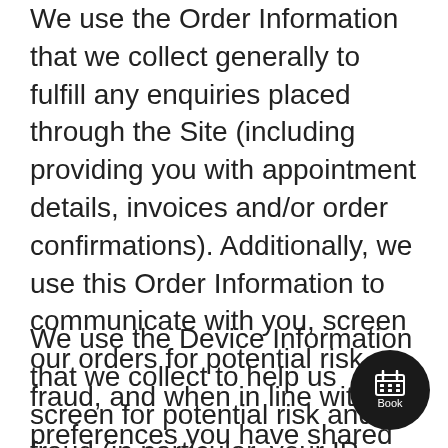We use the Order Information that we collect generally to fulfill any enquiries placed through the Site (including providing you with appointment details, invoices and/or order confirmations). Additionally, we use this Order Information to communicate with you, screen our orders for potential risk or fraud, and when in line with the preferences you have shared with us, provide you with information or advertising relating to our services.
We use the Device Information that we collect to help us screen for potential risk and fraud (in particular, your IP address) and more generally to improve and